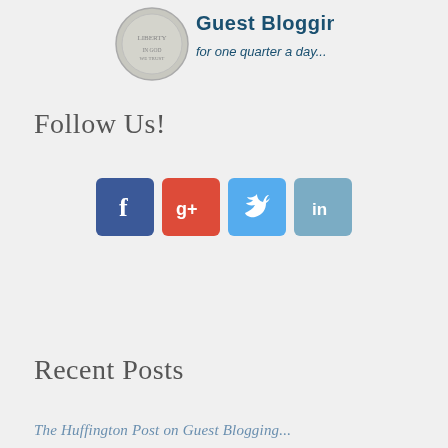[Figure (illustration): Guest Blogging for one quarter a day — banner with a quarter coin image and bold dark teal text]
Follow Us!
[Figure (infographic): Four social media icon buttons in a row: Facebook (blue), Google+ (red), Twitter (light blue), LinkedIn (steel blue)]
Recent Posts
The Huffington Post on Guest Blogging...